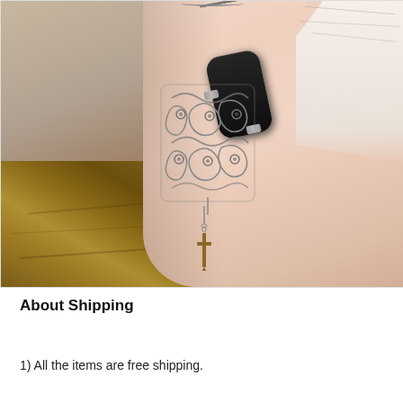[Figure (photo): A person's wrist wearing an ornate silver filigree Apple Watch band with a cross/dagger charm hanging from the bottom. The watch face is black/dark. The wrist rests on a wooden surface. A chain necklace and white fabric are visible in the background.]
About Shipping
1) All the items are free shipping.